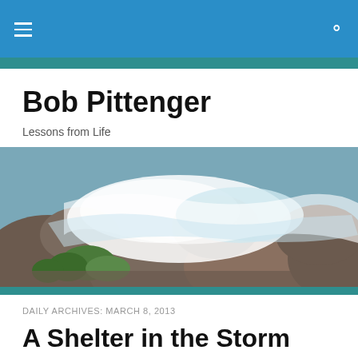Bob Pittenger – navigation bar with hamburger menu and search icon
Bob Pittenger
Lessons from Life
[Figure (photo): Rocky mountain river with rushing white water rapids, green shrubs along rocks]
DAILY ARCHIVES: MARCH 8, 2013
A Shelter in the Storm
[Figure (photo): Dark stormy sky with lightning, partial view of article thumbnail]